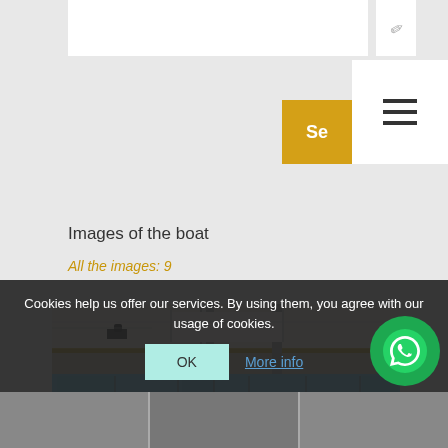Images of the boat
All the images: 9
[Figure (photo): Interior of a boat cabin showing panoramic windows overlooking the sea, with chrome fixtures, ceiling lights, and seating area]
Cookies help us offer our services. By using them, you agree with our usage of cookies.
OK
More info